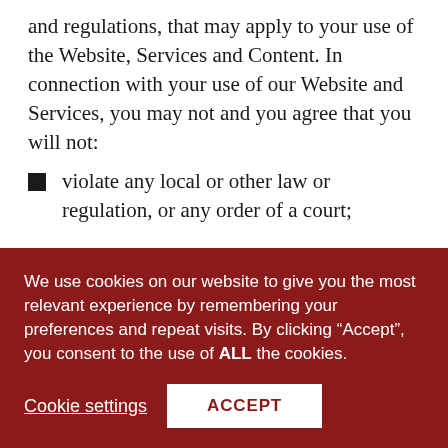and regulations, that may apply to your use of the Website, Services and Content. In connection with your use of our Website and Services, you may not and you agree that you will not:
violate any local or other law or regulation, or any order of a court;
use manual or automated software, devices, scripts robots, other means or processes to
We use cookies on our website to give you the most relevant experience by remembering your preferences and repeat visits. By clicking “Accept”, you consent to the use of ALL the cookies.
Cookie settings   ACCEPT